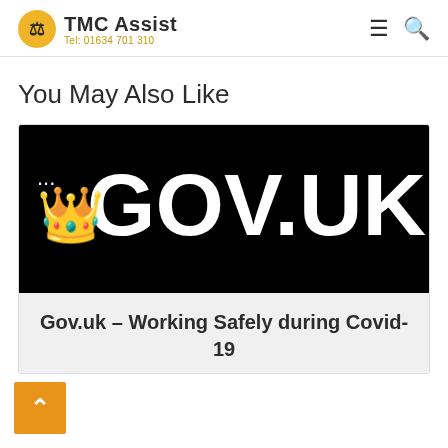TMC Assist Tel: 01634 701 310
You May Also Like
[Figure (screenshot): Black background image with GOV.UK logo and crown symbol in white text]
Gov.uk – Working Safely during Covid-19